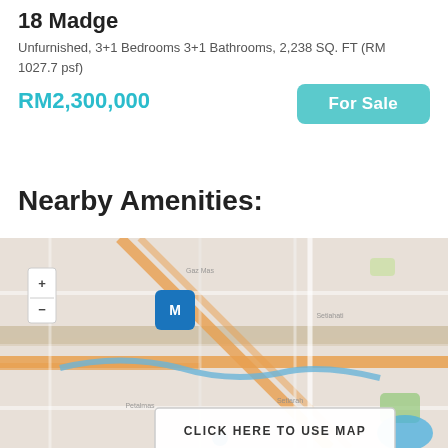18 Madge
Unfurnished, 3+1 Bedrooms 3+1 Bathrooms, 2,238 SQ. FT (RM 1027.7 psf)
RM2,300,000
For Sale
Nearby Amenities:
[Figure (map): Street map showing nearby area with roads and landmarks, with a blue location marker pin. Includes zoom controls.]
CLICK HERE TO USE MAP